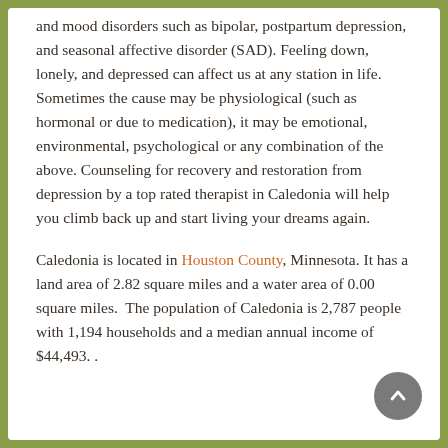and mood disorders such as bipolar, postpartum depression, and seasonal affective disorder (SAD). Feeling down, lonely, and depressed can affect us at any station in life. Sometimes the cause may be physiological (such as hormonal or due to medication), it may be emotional, environmental, psychological or any combination of the above. Counseling for recovery and restoration from depression by a top rated therapist in Caledonia will help you climb back up and start living your dreams again.
Caledonia is located in Houston County, Minnesota. It has a land area of 2.82 square miles and a water area of 0.00 square miles.  The population of Caledonia is 2,787 people with 1,194 households and a median annual income of $44,493. .